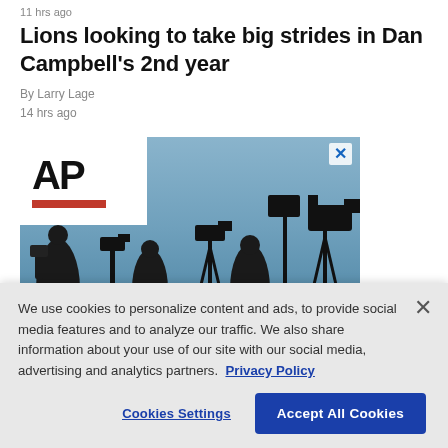11 hrs ago
Lions looking to take big strides in Dan Campbell's 2nd year
By Larry Lage
14 hrs ago
[Figure (photo): AP logo over silhouette of camera crew and journalists against a blue sky, with an X close button in the top right corner]
We use cookies to personalize content and ads, to provide social media features and to analyze our traffic. We also share information about your use of our site with our social media, advertising and analytics partners. Privacy Policy
Cookies Settings | Accept All Cookies